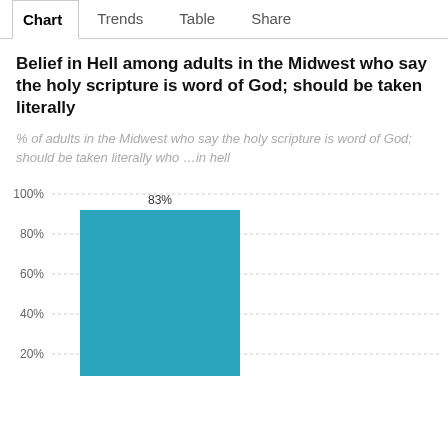Chart  Trends  Table  Share
Belief in Hell among adults in the Midwest who say the holy scripture is word of God; should be taken literally
% of adults in the Midwest who say the holy scripture is word of God; should be taken literally who …in hell
[Figure (bar-chart): Belief in Hell among adults in the Midwest who say the holy scripture is word of God; should be taken literally]